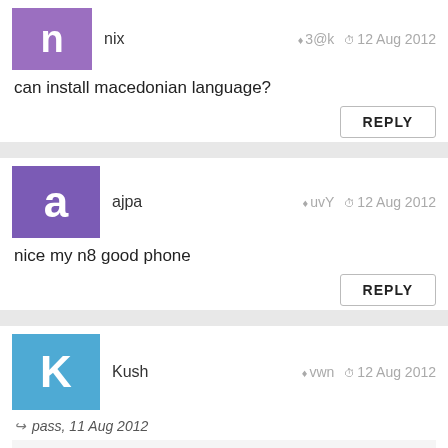nix  3@k  12 Aug 2012
can install macedonian language?
REPLY
ajpa  uvY  12 Aug 2012
nice my n8 good phone
REPLY
Kush  vwn  12 Aug 2012
pass, 11 Aug 2012
The best platform for sym iz belle and for windos is 8